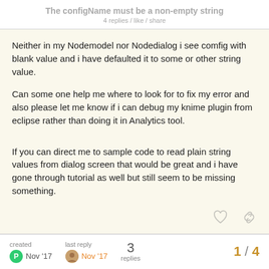The configName must be a non-empty string
Neither in my Nodemodel nor Nodedialog i see comfig with blank value and i have defaulted it to some or other string value.
Can some one help me where to look for to fix my error and also please let me know if i can debug my knime plugin from eclipse rather than doing it in Analytics tool.
If you can direct me to sample code to read plain string values from dialog screen that would be great and i have gone through tutorial as well but still seem to be missing something.
created Nov '17  last reply Nov '17  3 replies  1 / 4